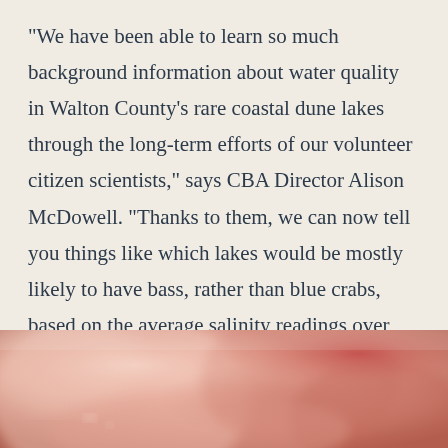“We have been able to learn so much background information about water quality in Walton County’s rare coastal dune lakes through the long-term efforts of our volunteer citizen scientists,” says CBA Director Alison McDowell. “Thanks to them, we can now tell you things like which lakes would be mostly likely to have bass, rather than blue crabs, based on the average salinity readings over the last 20 years, or which lakes show impacts of human development. The cost to monitor the 15 lakes monthly without citizen scientists would be huge—we wouldn’t be able to afford it.”
[Figure (photo): Close-up photo of what appears to be pink/peach colored organic material, possibly coral, flesh, or a biological specimen, with soft blurred texture and warm tones.]